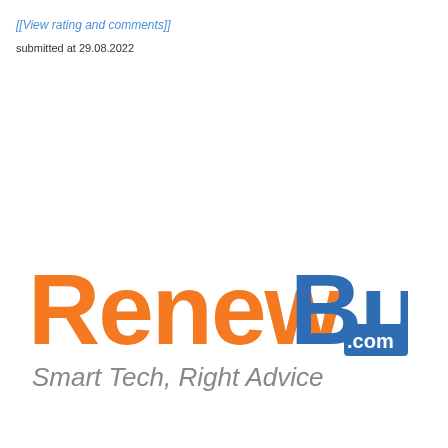[[View rating and comments]]
submitted at 29.08.2022
[Figure (logo): RenewBuy.com logo with tagline 'Smart Tech, Right Advice'. 'Renew' in orange, 'Buy' in blue, '.com' in white on blue rectangle, tagline in gray.]